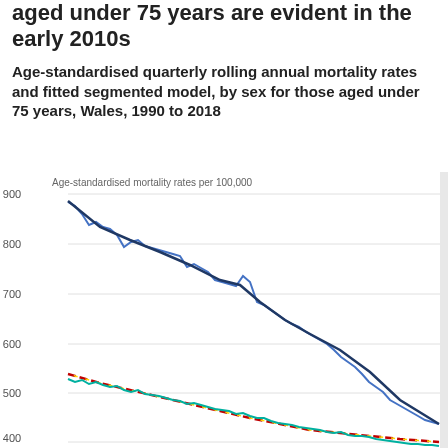aged under 75 years are evident in the early 2010s
Age-standardised quarterly rolling annual mortality rates and fitted segmented model, by sex for those aged under 75 years, Wales, 1990 to 2018
[Figure (continuous-plot): Line chart showing age-standardised quarterly rolling annual mortality rates per 100,000 and fitted segmented model lines by sex for those aged under 75 years in Wales from 1990 to 2018. Male rates (blue line) start around 840 and decline to around 520. Fitted male model (dark navy line) overlaps. Female rates (teal/green line) start around 460 and decline to around 360. Fitted female model (dashed pink/yellow line) overlaps. Y-axis shows values from 400 to 900.]